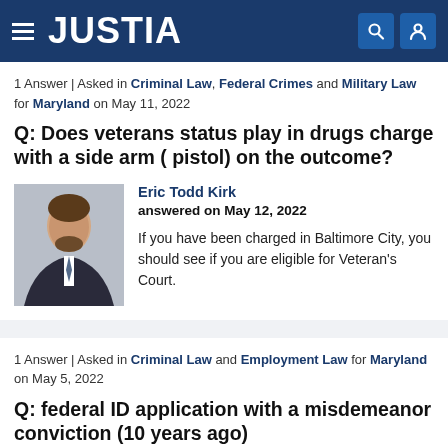JUSTIA
1 Answer | Asked in Criminal Law, Federal Crimes and Military Law for Maryland on May 11, 2022
Q: Does veterans status play in drugs charge with a side arm ( pistol) on the outcome?
[Figure (photo): Headshot photo of attorney Eric Todd Kirk]
Eric Todd Kirk
answered on May 12, 2022
If you have been charged in Baltimore City, you should see if you are eligible for Veteran's Court.
1 Answer | Asked in Criminal Law and Employment Law for Maryland on May 5, 2022
Q: federal ID application with a misdemeanor conviction (10 years ago)